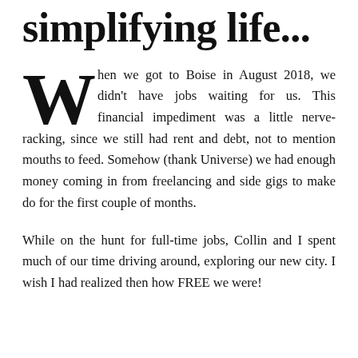simplifying life...
When we got to Boise in August 2018, we didn't have jobs waiting for us. This financial impediment was a little nerve-racking, since we still had rent and debt, not to mention mouths to feed. Somehow (thank Universe) we had enough money coming in from freelancing and side gigs to make do for the first couple of months.
While on the hunt for full-time jobs, Collin and I spent much of our time driving around, exploring our new city. I wish I had realized then how FREE we were!